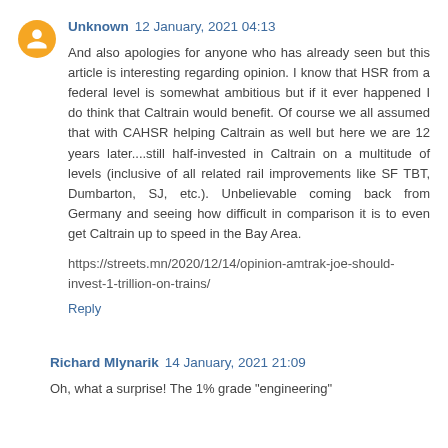Unknown 12 January, 2021 04:13
And also apologies for anyone who has already seen but this article is interesting regarding opinion. I know that HSR from a federal level is somewhat ambitious but if it ever happened I do think that Caltrain would benefit. Of course we all assumed that with CAHSR helping Caltrain as well but here we are 12 years later....still half-invested in Caltrain on a multitude of levels (inclusive of all related rail improvements like SF TBT, Dumbarton, SJ, etc.). Unbelievable coming back from Germany and seeing how difficult in comparison it is to even get Caltrain up to speed in the Bay Area.
https://streets.mn/2020/12/14/opinion-amtrak-joe-should-invest-1-trillion-on-trains/
Reply
Richard Mlynarik 14 January, 2021 21:09
Oh, what a surprise! The 1% grade "engineering"